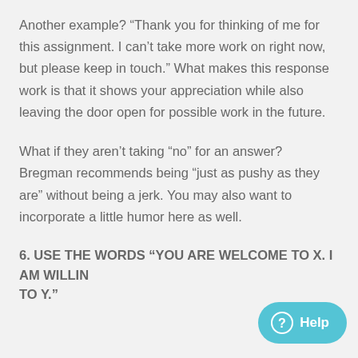Another example? “Thank you for thinking of me for this assignment. I can’t take more work on right now, but please keep in touch.” What makes this response work is that it shows your appreciation while also leaving the door open for possible work in the future.
What if they aren’t taking “no” for an answer? Bregman recommends being “just as pushy as they are” without being a jerk. You may also want to incorporate a little humor here as well.
6. USE THE WORDS “YOU ARE WELCOME TO X. I AM WILLING TO Y.”